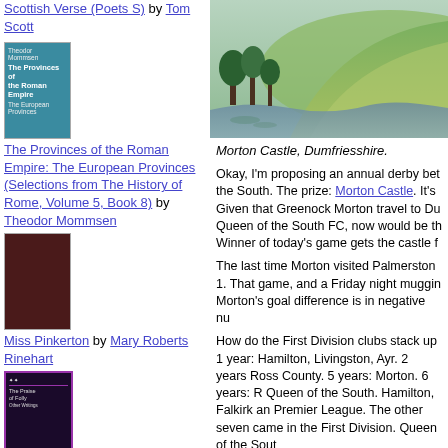Scottish Verse (Poets S) by Tom Scott
[Figure (illustration): Book cover: The Provinces of the Roman Empire: The European Provinces (Selections from The History of Rome, Volume 5, Book 8) by Theodor Mommsen - blue cover]
The Provinces of the Roman Empire: The European Provinces (Selections from The History of Rome, Volume 5, Book 8) by Theodor Mommsen
[Figure (illustration): Book cover: Miss Pinkerton - dark red/maroon cover]
Miss Pinkerton by Mary Roberts Rinehart
[Figure (illustration): Book cover: The Praise of Folly - black cover with purple border]
The Praise of Folly
[Figure (photo): Landscape photo of Morton Castle, Dumfriesshire - green hillside with trees and river]
Morton Castle, Dumfriesshire.
Okay, I'm proposing an annual derby bet the South. The prize: Morton Castle. It's Given that Greenock Morton travel to Du Queen of the South FC, now would be th Winner of today's game gets the castle f
The last time Morton visited Palmerston 1. That game, and a Friday night muggin Morton's goal difference is in negative nu
How do the First Division clubs stack up 1 year: Hamilton, Livingston, Ayr. 2 years Ross County. 5 years: Morton. 6 years: R Queen of the South. Hamilton, Falkirk an Premier League. The other seven came in the First Division. Queen of the Sout